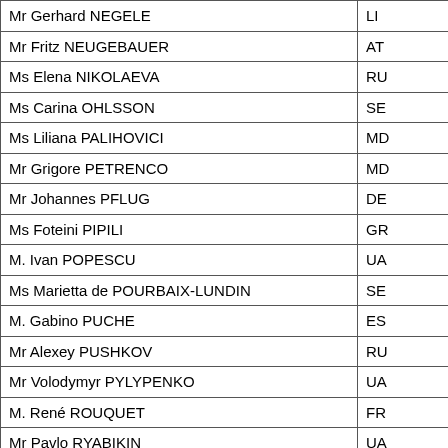| Name | Country |
| --- | --- |
| Mr Gerhard NEGELE | LI |
| Mr Fritz NEUGEBAUER | AT |
| Ms Elena NIKOLAEVA | RU |
| Ms Carina OHLSSON | SE |
| Ms Liliana PALIHOVICI | MD |
| Mr Grigore PETRENCO | MD |
| Mr Johannes PFLUG | DE |
| Ms Foteini PIPILI | GR |
| M. Ivan POPESCU | UA |
| Ms Marietta de POURBAIX-LUNDIN | SE |
| M. Gabino PUCHE | ES |
| Mr Alexey PUSHKOV | RU |
| Mr Volodymyr PYLYPENKO | UA |
| M. René ROUQUET | FR |
| Mr Pavlo RYABIKIN | UA |
| Mr Rovshan RZAYEV | AZ |
| Mr Ludo SANNEN | BE |